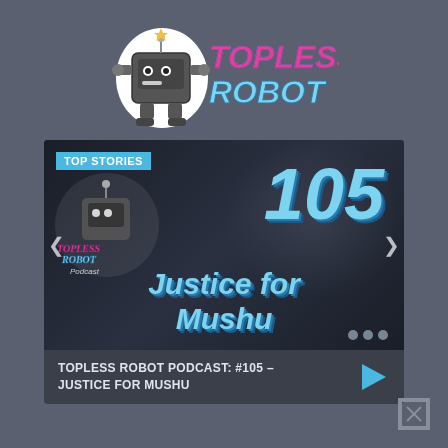[Figure (logo): Topless Robot logo with robot character icon and stylized neon text 'TOPLESS ROBOT']
[Figure (screenshot): Topless Robot Podcast episode thumbnail showing episode #105 'Justice for Mushu' with podcast hosts, 'TOP STORIES' badge, navigation arrows, and dot indicators]
TOPLESS ROBOT PODCAST: #105 – JUSTICE FOR MUSHU
[Figure (other): Close/dismiss button (X in a box) at bottom right corner]